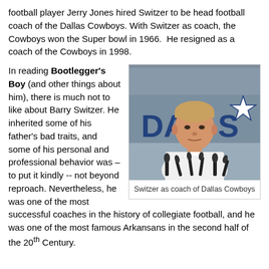football player Jerry Jones hired Switzer to be head football coach of the Dallas Cowboys. With Switzer as coach, the Cowboys won the Super bowl in 1966.  He resigned as a coach of the Cowboys in 1998.
In reading Bootlegger's Boy (and other things about him), there is much not to like about Barry Switzer. He inherited some of his father's bad traits, and some of his personal and professional behavior was – to put it kindly -- not beyond reproach. Nevertheless, he was one of the most successful coaches in the history of collegiate football, and he was one of the most famous Arkansans in the second half of the 20th Century.
[Figure (photo): Barry Switzer seated at a press conference table with microphones, wearing a white shirt, with a Dallas Cowboys banner visible in the background showing 'DA' and 'S' and a star logo.]
Switzer as coach of Dallas Cowboys